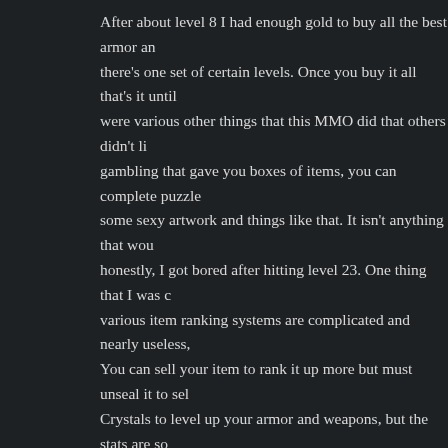After about level 8 I had enough gold to buy all the best armor and there's one set of certain levels. Once you buy it all that's it until were various other things that this MMO did that others didn't like gambling that gave you boxes of items, you can complete puzzle some sexy artwork and things like that. It isn't anything that wou honestly, I got bored after hitting level 23. One thing that I was c various item ranking systems are complicated and nearly useless, You can sell your item to rank it up more but must unseal it to sel Crystals to level up your armor and weapons, but the stats are so difference. Honestly, the game offers very little reward for all yo
There are some social poses your character can buy and learn tha game. These do nothing more than offer you something to ogle a your character rest and heal up. There were other items that I fou make your text in the chat gold so it stands out. Maybe items we an MMO would offer you so little for so much effort is beyond me actually useful. After a while, you get a mech you can use that us damage. Another item is a suit that is used in PvP only, these ite handy a lot.
There are various other systems like storing items, buying items, which goes to level 23 to still didn't change...